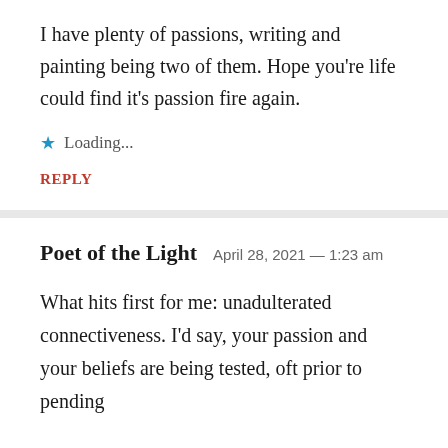I have plenty of passions, writing and painting being two of them. Hope you're life could find it's passion fire again.
Loading...
REPLY
Poet of the Light  April 28, 2021 — 1:23 am
What hits first for me: unadulterated connectiveness. I'd say, your passion and your beliefs are being tested, oft prior to pending